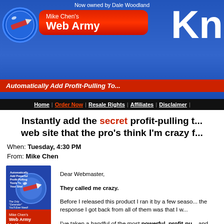Now owned by Dale Woodland
[Figure (logo): Mike Chen's Web Army Knife banner header with knife graphic and 'Kn' text visible, red oval banner, blue gradient background. Tagline: Automatically Add Profit-Pulling To...]
Home | Order Now | Resale Rights | Affiliates | Disclaimer |
Instantly add the secret profit-pulling t... web site that the pro's think I'm crazy f...
When: Tuesday, 4:30 PM
From: Mike Chen
[Figure (illustration): Book cover for Mike Chen's Web Army Knife showing knife graphic with text: Automatically Add Powerful Profit-Pulling Tools To Your Site! The Only Generator You'll Ever Need!]
Dear Webmaster,

They called me crazy.

Before I released this product I ran it by a few seaso... the response I got back from all of them was that I w...

I've taken a handful of the most powerful, profit-pu... and tools that would cost $1,000's elsewhere and pa... one little tool.